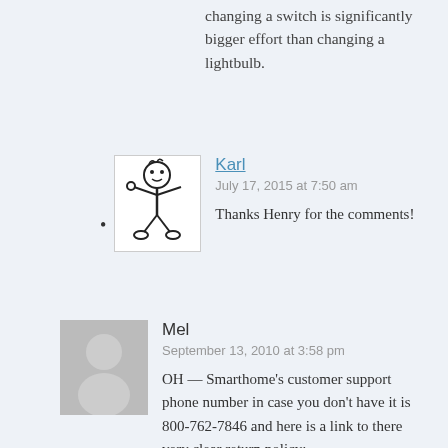changing a switch is significantly bigger effort than changing a lightbulb.
Karl
July 17, 2015 at 7:50 am
Thanks Henry for the comments!
[Figure (illustration): Black and white cartoon illustration of a character with arms outstretched]
Mel
September 13, 2010 at 3:58 pm
OH — Smarthome's customer support phone number in case you don't have it is 800-762-7846 and here is a link to there very clear return policy: